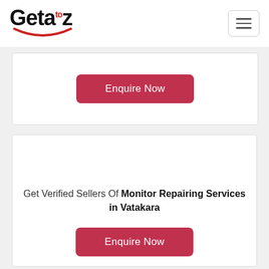Getaz
[Figure (other): Enquire Now button in a white card (top card, partially visible)]
Get Verified Sellers Of Monitor Repairing Services in Vatakara
[Figure (other): Enquire Now button in a white card (second card)]